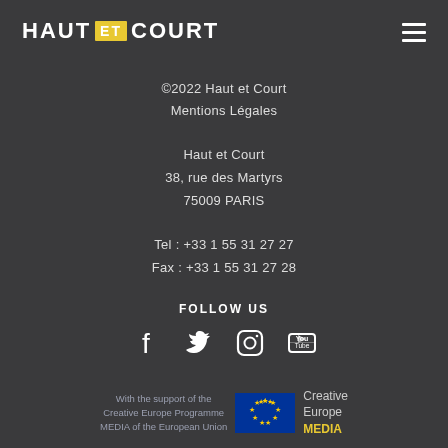HAUT ET COURT
©2022 Haut et Court
Mentions Légales
Haut et Court
38, rue des Martyrs
75009 PARIS
Tel : +33 1 55 31 27 27
Fax : +33 1 55 31 27 28
FOLLOW US
[Figure (illustration): Social media icons: Facebook, Twitter, Instagram, YouTube]
[Figure (logo): Creative Europe MEDIA logo with EU flag stars and text: With the support of the Creative Europe Programme MEDIA of the European Union]